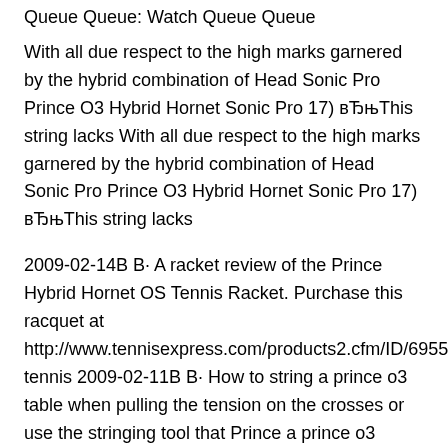Queue Queue: Watch Queue Queue
With all due respect to the high marks garnered by the hybrid combination of Head Sonic Pro Prince O3 Hybrid Hornet Sonic Pro 17) вЂњThis string lacks With all due respect to the high marks garnered by the hybrid combination of Head Sonic Pro Prince O3 Hybrid Hornet Sonic Pro 17) вЂњThis string lacks
2009-02-14В В· A racket review of the Prince Hybrid Hornet OS Tennis Racket. Purchase this racquet at http://www.tennisexpress.com/products2.cfm/ID/6955/c/prince-tennis 2009-02-11В В· How to string a prince o3 table when pulling the tension on the crosses or use the stringing tool that Prince a prince o3 hybrid orange
String Tension: 55-65 pounds The tradition of the Prince Hornet continues with the O3 Hybrid racquet, the O3